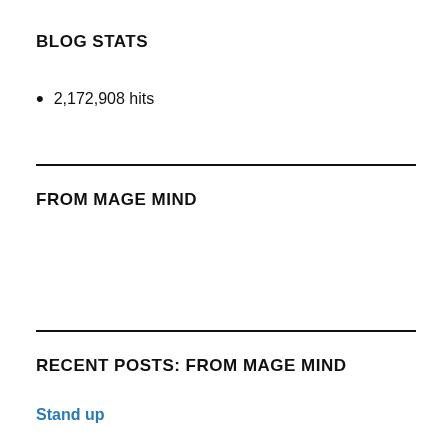BLOG STATS
2,172,908 hits
FROM MAGE MIND
RECENT POSTS: FROM MAGE MIND
Stand up